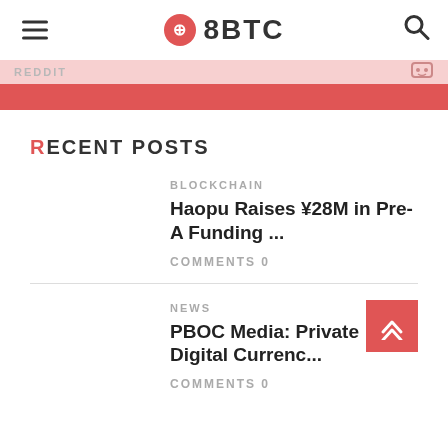8BTC
RECENT POSTS
BLOCKCHAIN
Haopu Raises ¥28M in Pre-A Funding ...
COMMENTS 0
NEWS
PBOC Media: Private Digital Currenc...
COMMENTS 0